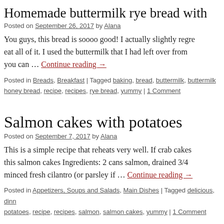Homemade buttermilk rye bread with
Posted on September 26, 2017 by Alana
You guys, this bread is soooo good! I actually slightly regre eat all of it. I used the buttermilk that I had left over from you can … Continue reading →
Posted in Breads, Breakfast | Tagged baking, bread, buttermilk, buttermilk honey bread, recipe, recipes, rye bread, yummy | 1 Comment
Salmon cakes with potatoes
Posted on September 7, 2017 by Alana
This is a simple recipe that reheats very well. If crab cakes this salmon cakes Ingredients: 2 cans salmon, drained 3/4 minced fresh cilantro (or parsley if … Continue reading →
Posted in Appetizers, Soups and Salads, Main Dishes | Tagged delicious, dinn potatoes, recipe, recipes, salmon, salmon cakes, yummy | 1 Comment